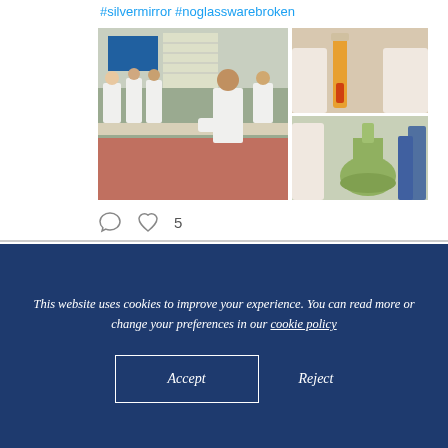#silvermirror #noglasswarebroken
[Figure (photo): Three-panel photo collage: left panel shows students in white lab coats working at a laboratory bench; top-right panel shows a person holding a test tube with orange/yellow liquid; bottom-right panel shows a person holding an Erlenmeyer flask with green/yellow content.]
5
This website uses cookies to improve your experience. You can read more or change your preferences in our cookie policy
Accept
Reject